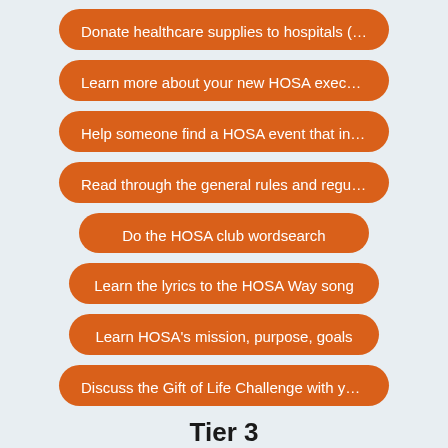Donate healthcare supplies to hospitals (…
Learn more about your new HOSA execut…
Help someone find a HOSA event that int…
Read through the general rules and regul…
Do the HOSA club wordsearch
Learn the lyrics to the HOSA Way song
Learn HOSA's mission, purpose, goals
Discuss the Gift of Life Challenge with you…
Tier 3